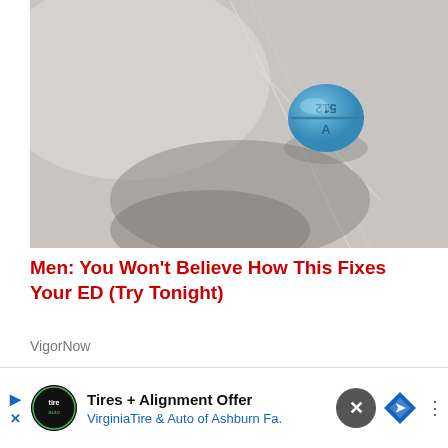[Figure (photo): Close-up photo of a blue pill tablet with '512' imprint in a clear plastic blister pack, on a light gray/white textured surface]
Men: You Won't Believe How This Fixes Your ED (Try Tonight)
VigorNow
[Figure (photo): Partial photo showing a hand holding what appears to be a pencil or instrument against a dark background]
Tires + Alignment Offer  VirginiaTire & Auto of Ashburn Fa.